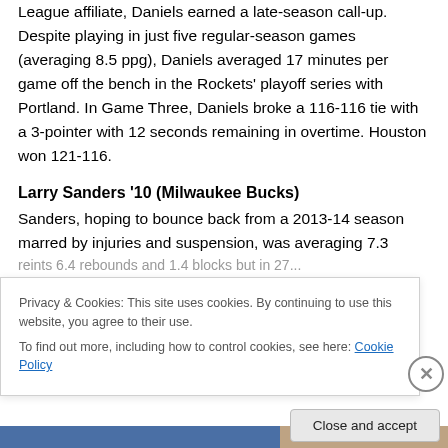League affiliate, Daniels earned a late-season call-up. Despite playing in just five regular-season games (averaging 8.5 ppg), Daniels averaged 17 minutes per game off the bench in the Rockets' playoff series with Portland. In Game Three, Daniels broke a 116-116 tie with a 3-pointer with 12 seconds remaining in overtime. Houston won 121-116.
Larry Sanders '10 (Milwaukee Bucks)
Sanders, hoping to bounce back from a 2013-14 season marred by injuries and suspension, was averaging 7.3
Privacy & Cookies: This site uses cookies. By continuing to use this website, you agree to their use. To find out more, including how to control cookies, see here: Cookie Policy